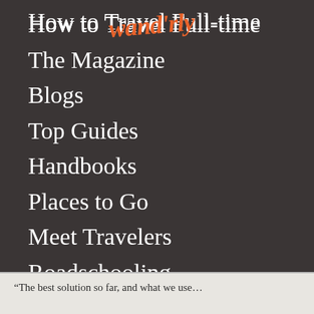[Figure (logo): Wandrly logo in orange italic script overlaid on navigation menu]
How to Travel Full-time
The Magazine
Blogs
Top Guides
Handbooks
Places to Go
Meet Travelers
Roadschooling
About
Login
“The best solution so far, and what we use...